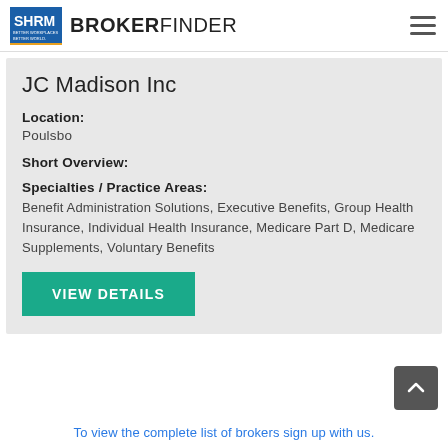SHRM BROKERFINDER
JC Madison Inc
Location:
Poulsbo
Short Overview:
Specialties / Practice Areas:
Benefit Administration Solutions, Executive Benefits, Group Health Insurance, Individual Health Insurance, Medicare Part D, Medicare Supplements, Voluntary Benefits
VIEW DETAILS
To view the complete list of brokers sign up with us.